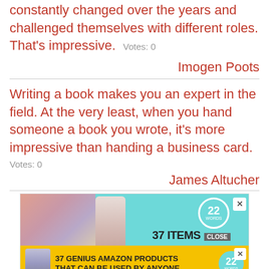constantly changed over the years and challenged themselves with different roles. That's impressive.  Votes: 0
Imogen Poots
Writing a book makes you an expert in the field. At the very least, when you hand someone a book you wrote, it's more impressive than handing a business card.  Votes: 0
James Altucher
[Figure (screenshot): Advertisement banner: '37 GENIUS AMAZON PRODUCTS THAT CAN BE USED BY ANYONE' with teal badge showing '22 WORDS', close button, and product images]
Somewhere in [China's] soul lurks the cunning of an old dog, and it is a cunning that is